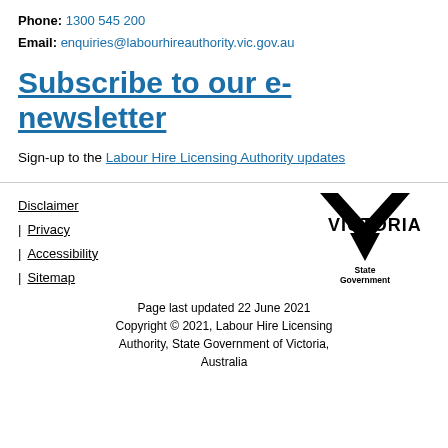Phone: 1300 545 200
Email: enquiries@labourhireauthority.vic.gov.au
Subscribe to our e-newsletter
Sign-up to the Labour Hire Licensing Authority updates
Disclaimer | Privacy | Accessibility | Sitemap
[Figure (logo): Victoria State Government logo — black downward-pointing triangle/chevron with VICTORIA State Government text]
Page last updated 22 June 2021
Copyright © 2021, Labour Hire Licensing Authority, State Government of Victoria, Australia